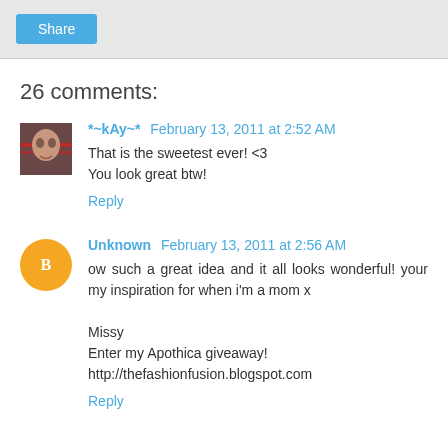Share
26 comments:
*~kAy~*  February 13, 2011 at 2:52 AM
That is the sweetest ever! <3
You look great btw!
Reply
Unknown  February 13, 2011 at 2:56 AM
ow such a great idea and it all looks wonderful! your my inspiration for when i'm a mom x

Missy
Enter my Apothica giveaway!
http://thefashionfusion.blogspot.com
Reply